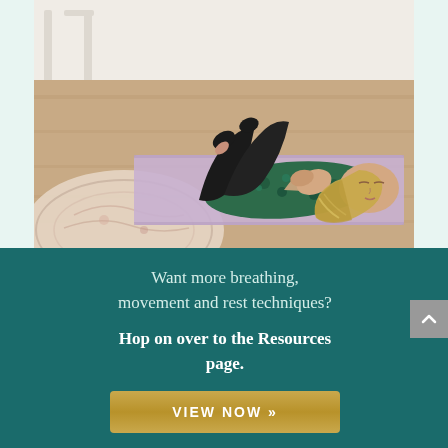[Figure (photo): Woman in green floral top and black leggings lying on a purple yoga mat on a wooden floor, knees bent, hands on chest, eyes closed, in a relaxation/breathing pose. Decorative rug visible in bottom left corner. White furniture in background.]
Want more breathing, movement and rest techniques?
Hop on over to the Resources page.
VIEW NOW »